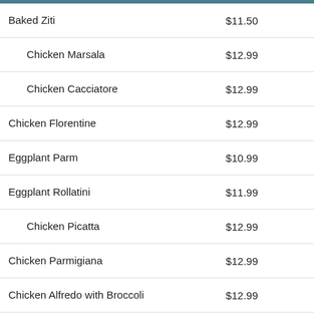Baked Ziti $11.50
Chicken Marsala $12.99
Chicken Cacciatore $12.99
Chicken Florentine $12.99
Eggplant Parm $10.99
Eggplant Rollatini $11.99
Chicken Picatta $12.99
Chicken Parmigiana $12.99
Chicken Alfredo with Broccoli $12.99
Rigatoni Vodka Sauce with Chicken $12.99
Chicken Francaise $12.99